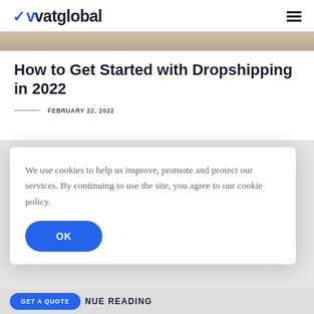vatglobal
[Figure (photo): Cropped hero image strip showing what appears to be a pen or pencil on a light background]
How to Get Started with Dropshipping in 2022
FEBRUARY 22, 2022
We use cookies to help us improve, promote and protect our services. By continuing to use the site, you agree to our cookie policy.
OK
GET A QUOTE
NUE READING